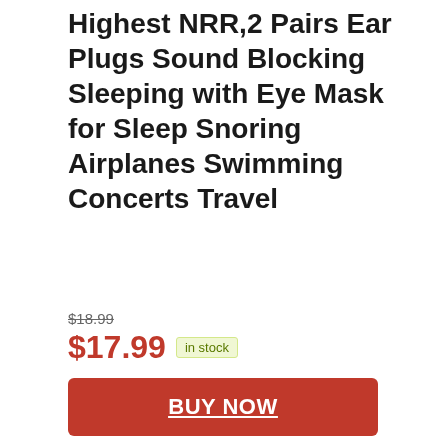Highest NRR,2 Pairs Ear Plugs Sound Blocking Sleeping with Eye Mask for Sleep Snoring Airplanes Swimming Concerts Travel
$18.99
$17.99 in stock
BUY NOW
Amazon.com
as of August 21, 2022 3:35 pm
Features
🔊Amazing Noise Reduction🔊Noise canceling